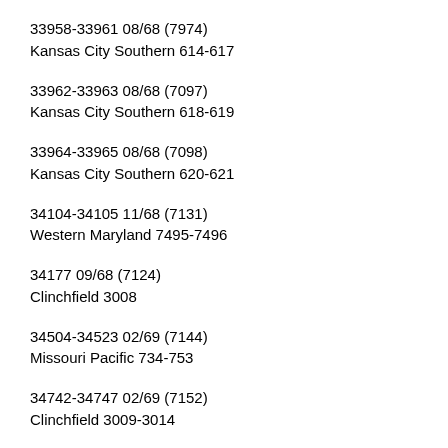33958-33961 08/68 (7974)
Kansas City Southern 614-617
33962-33963 08/68 (7097)
Kansas City Southern 618-619
33964-33965 08/68 (7098)
Kansas City Southern 620-621
34104-34105 11/68 (7131)
Western Maryland 7495-7496
34177 09/68 (7124)
Clinchfield 3008
34504-34523 02/69 (7144)
Missouri Pacific 734-753
34742-34747 02/69 (7152)
Clinchfield 3009-3014
34758-34762 04/69 (7155)
Louisville & Nashville 1229-1233
34775-34778 04/69 (7159)
Baltimore & Ohio 7497-7500